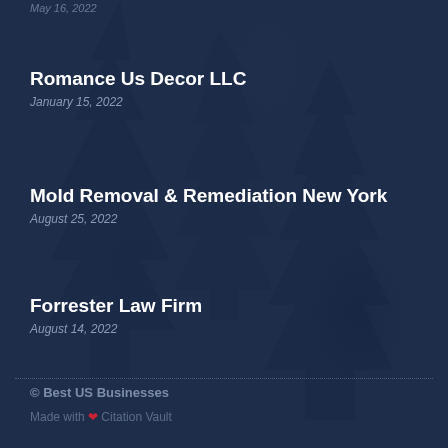[Date partially visible at top]
Romance Us Decor LLC
January 15, 2022
Mold Removal & Remediation New York
August 25, 2022
Forrester Law Firm
August 14, 2022
© Best US Businesses
Made with ❤ Citation Vault